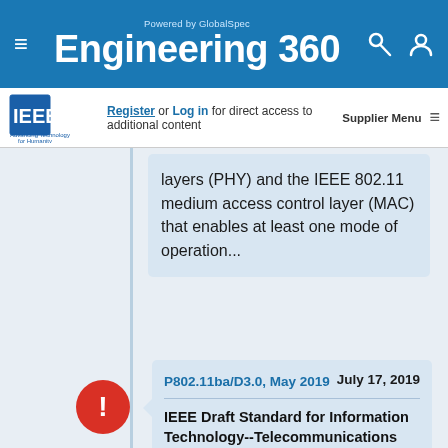Engineering 360 — Powered by GlobalSpec
Register or Log in for direct access to additional content  Supplier Menu
layers (PHY) and the IEEE 802.11 medium access control layer (MAC) that enables at least one mode of operation...
P802.11ba/D3.0, May 2019    July 17, 2019
IEEE Draft Standard for Information Technology--Telecommunications and
GlobalSpec websites place cookies on your device to give you the best user experience. By using our websites, you agree to the placement of these cookies. To learn more, read our Privacy Policy
Accept & Close